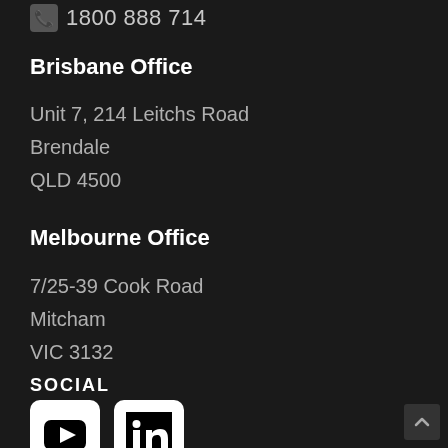1800 888 714
Brisbane Office
Unit 7, 214 Leitchs Road
Brendale
QLD 4500
Melbourne Office
7/25-39 Cook Road
Mitcham
VIC 3132
SOCIAL
[Figure (logo): YouTube and LinkedIn social media icons as white rounded square buttons]